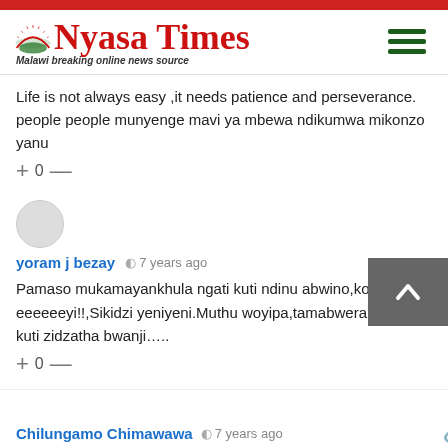Nyasa Times — Malawi breaking online news source
Life is not always easy ,it needs patience and perseverance. people people munyenge mavi ya mbewa ndikumwa mikonzo yanu
+ 0 —
yoram j bezay  7 years ago
Pamaso mukamayankhula ngati kuti ndinu abwino,ko eeeeeeyi!!,Sikidzi yeniyeni.Muthu woyipa,tamabweran tione kuti zidzatha bwanji…..
+ 0 —
Chilungamo Chimawawa  7 years ago